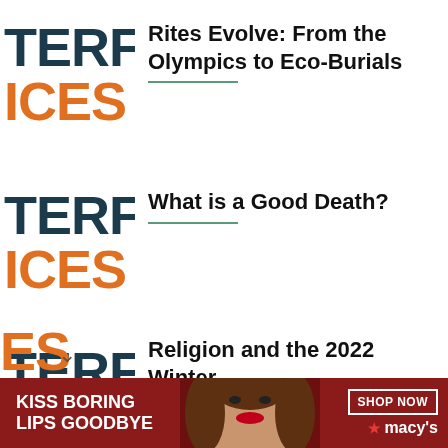[Figure (logo): INTERFACES logo — 'TERFA' in dark teal and 'ICES' in orange, cropped on left]
Rites Evolve: From the Olympics to Eco-Burials
[Figure (logo): INTERFACES logo — 'TERFA' in dark teal and 'ICES' in orange, cropped on left]
What is a Good Death?
[Figure (logo): INTERFACES logo — 'TERFA' in dark teal, cropped on left]
Religion and the 2022 Winter Olympics
[Figure (other): Advertisement banner: KISS BORING LIPS GOODBYE with woman's face, SHOP NOW button, Macy's logo on dark red background]